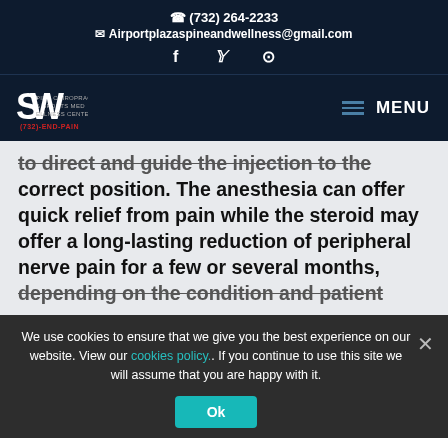(732) 264-2233 | Airportplazaspineandwellness@gmail.com
[Figure (logo): Spine & Wellness logo with text (732)-END-PAIN]
to direct and guide the injection to the correct position. The anesthesia can offer quick relief from pain while the steroid may offer a long-lasting reduction of peripheral nerve pain for a few or several months, depending on the condition and patient
We use cookies to ensure that we give you the best experience on our website. View our cookies policy.. If you continue to use this site we will assume that you are happy with it.